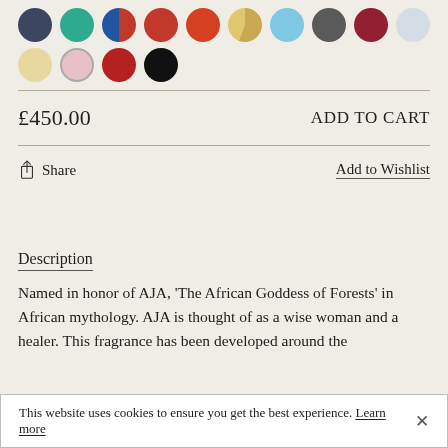[Figure (illustration): Two rows of color swatches (circles): top row has 10 swatches in dark navy, teal, multicolor, red, red-orange, tan/gold, light blue, dark gray, dark red/maroon, light blue-gray. Second row has 4 swatches: tan/beige, pink (outlined/selected), red, black.]
£450.00
ADD TO CART
Share
Add to Wishlist
Description
Named in honor of AJA, 'The African Goddess of Forests' in African mythology. AJA is thought of as a wise woman and a healer. This fragrance has been developed around the...
This website uses cookies to ensure you get the best experience. Learn more